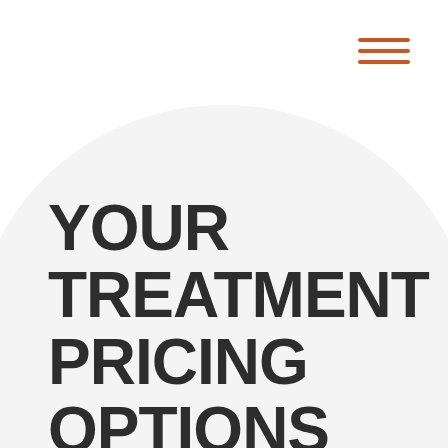[Figure (other): Hamburger menu icon with three horizontal orange/rust colored lines in the top-right corner]
YOUR TREATMENT PRICING OPTIONS